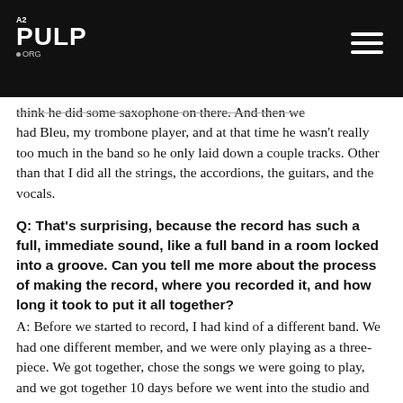A2 PULP ORG
think he did some saxophone on there. And then we had Bleu, my trombone player, and at that time he wasn't really too much in the band so he only laid down a couple tracks. Other than that I did all the strings, the accordions, the guitars, and the vocals.
Q: That's surprising, because the record has such a full, immediate sound, like a full band in a room locked into a groove. Can you tell me more about the process of making the record, where you recorded it, and how long it took to put it all together?
A: Before we started to record, I had kind of a different band. We had one different member, and we were only playing as a three-piece. We got together, chose the songs we were going to play, and we got together 10 days before we went into the studio and